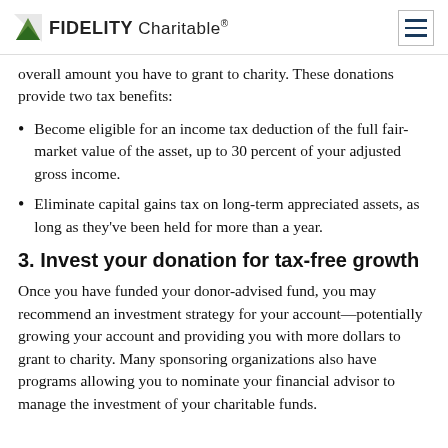FIDELITY Charitable®
overall amount you have to grant to charity. These donations provide two tax benefits:
Become eligible for an income tax deduction of the full fair-market value of the asset, up to 30 percent of your adjusted gross income.
Eliminate capital gains tax on long-term appreciated assets, as long as they've been held for more than a year.
3. Invest your donation for tax-free growth
Once you have funded your donor-advised fund, you may recommend an investment strategy for your account—potentially growing your account and providing you with more dollars to grant to charity. Many sponsoring organizations also have programs allowing you to nominate your financial advisor to manage the investment of your charitable funds.